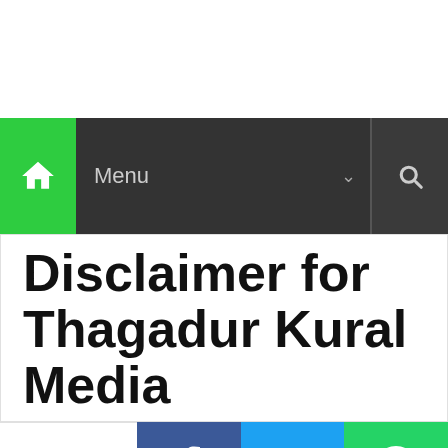[Figure (screenshot): Website navigation bar with green home icon, dark menu bar with 'Menu' text and chevron, and search icon]
Disclaimer for Thagadur Kural Media
0 SHARES
[Figure (infographic): Social share bar with Facebook, Twitter, and WhatsApp buttons]